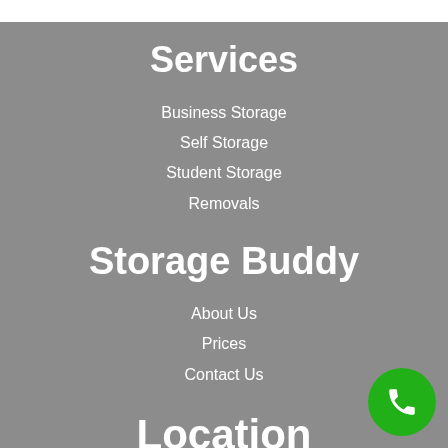Services
Business Storage
Self Storage
Student Storage
Removals
Storage Buddy
About Us
Prices
Contact Us
Location